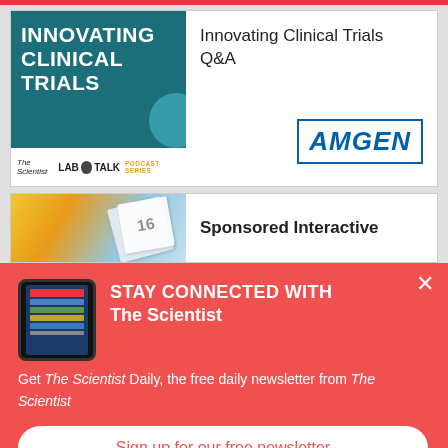[Figure (other): Innovating Clinical Trials podcast card with teal background showing bold white text 'INNOVATING CLINICAL TRIALS' and Lab Talk Podcast Series branding at bottom]
Innovating Clinical Trials Q&A
[Figure (logo): AMGEN logo in blue with rectangular border]
[Figure (other): Second card showing partial image of a calendar/notebook and right side showing 'Sponsored Interactive' text]
Sponsored Interactive
[Figure (other): Tablet device showing The Scientist Daily newsletter app]
STAY CONNECTED WITH The Scientist
Get The Scientist Daily, the free daily newsletter from The Scientist
Sign up for our free newsletter